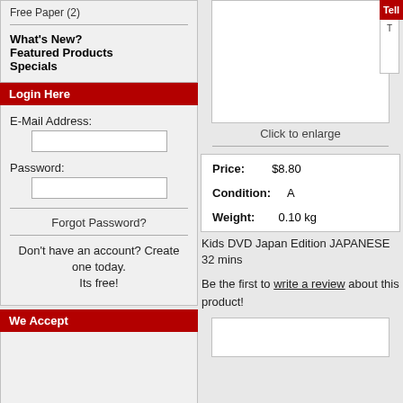Free Paper (2)
What's New?
Featured Products
Specials
Login Here
E-Mail Address:
Password:
Forgot Password?
Don't have an account? Create one today. Its free!
We Accept
Click to enlarge
| Field | Value |
| --- | --- |
| Price: | $8.80 |
| Condition: | A |
| Weight: | 0.10 kg |
Kids DVD Japan Edition JAPANESE 32 mins
Be the first to write a review about this product!
Tell